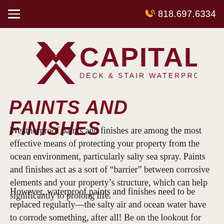818.697.6334
[Figure (logo): Capital Deck & Stair Waterproofing logo with stylized X icon and company name]
PAINTS AND FINISHES
Weatherproof paints and finishes are among the most effective means of protecting your property from the ocean environment, particularly salty sea spray. Paints and finishes act as a sort of “barrier” between corrosive elements and your property’s structure, which can help significantly to prolong life.
However, waterproof paints and finishes need to be replaced regularly—the salty air and ocean water have to corrode something, after all! Be on the lookout for